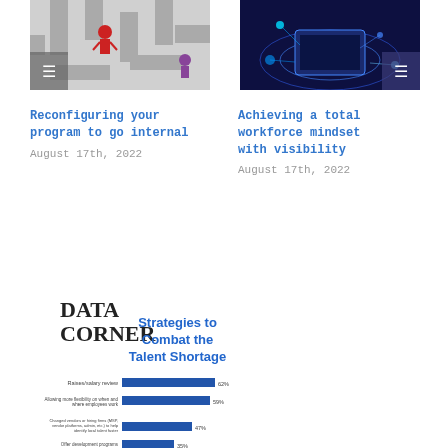[Figure (illustration): Maze with cartoon figures navigating through it]
Reconfiguring your program to go internal
August 17th, 2022
[Figure (illustration): Digital technology concept with glowing circuit boards and devices on dark blue background]
Achieving a total workforce mindset with visibility
August 17th, 2022
DATA
CORNER
[Figure (bar-chart): Strategies to Combat the Talent Shortage]